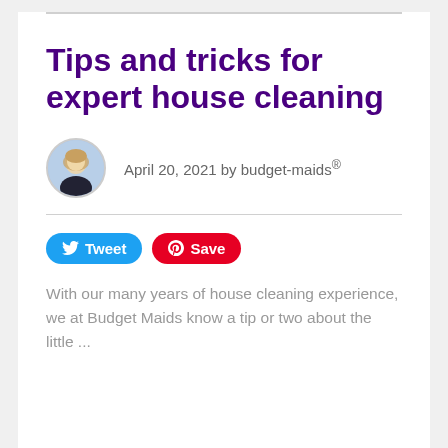Tips and tricks for expert house cleaning
April 20, 2021 by budget-maids®
[Figure (photo): Circular avatar photo of a woman with short blonde hair wearing a dark jacket]
Tweet Save
With our many years of house cleaning experience, we at Budget Maids know a tip or two about the little ...